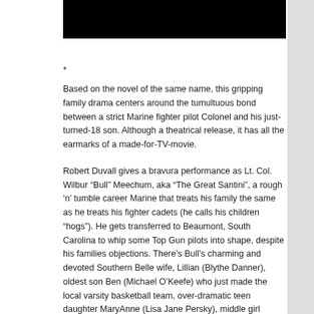[Figure (photo): Black redacted bar at top of page]
*
Based on the novel of the same name, this gripping family drama centers around the tumultuous bond between a strict Marine fighter pilot Colonel and his just-turned-18 son. Although a theatrical release, it has all the earmarks of a made-for-TV-movie.
Robert Duvall gives a bravura performance as Lt. Col. Wilbur “Bull” Meechum, aka “The Great Santini”, a rough ‘n’ tumble career Marine that treats his family the same as he treats his fighter cadets (he calls his children “hogs”). He gets transferred to Beaumont, South Carolina to whip some Top Gun pilots into shape, despite his families objections. There’s Bull’s charming and devoted Southern Belle wife, Lillian (Blythe Danner), oldest son Ben (Michael O’Keefe) who just made the local varsity basketball team, over-dramatic teen daughter MaryAnne (Lisa Jane Persky), middle girl Karen (Julie Anne Haddock) and youngest son Matt...